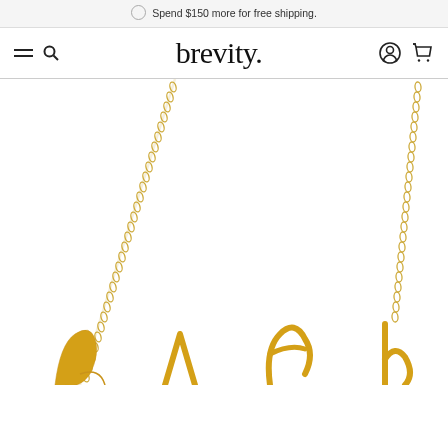Spend $150 more for free shipping.
[Figure (screenshot): brevity. jewelry e-commerce website header with hamburger menu, search icon, logo, account icon, and cart icon]
[Figure (photo): Gold cursive letter necklace product photo on white background, showing gold chain and partial gold script lettering at bottom, cropped]